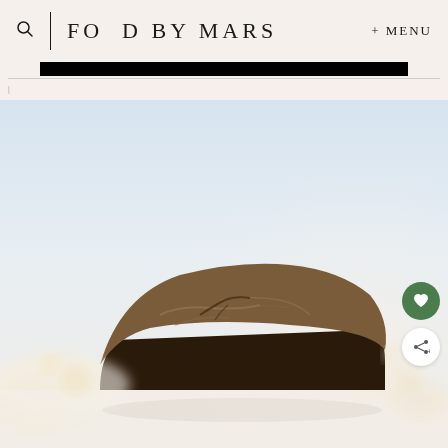FOOD BY MARS + MENU
[Figure (photo): Close-up photograph of a dark chocolate baked good (brownie or chocolate bread loaf) on a white surface with light bokeh background, from the Food By Mars food blog]